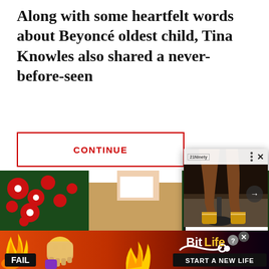Along with some heartfelt words about Beyoncé oldest child, Tina Knowles also shared a never-before-seen
CONTINUE
Posted On : Januar
[Figure (screenshot): Ad overlay showing a photo of person's legs and feet wearing yellow socks near a chair, with controls and caption '9 Timeless Shoes For Fall – 21Ninety']
[Figure (photo): Bottom strip showing holiday/Christmas themed image with red flowers and greenery, partially visible person]
[Figure (advertisement): BitLife advertisement banner at the bottom with orange/red background, FAIL badge, emojis, fire, serpent logo, START A NEW LIFE text]